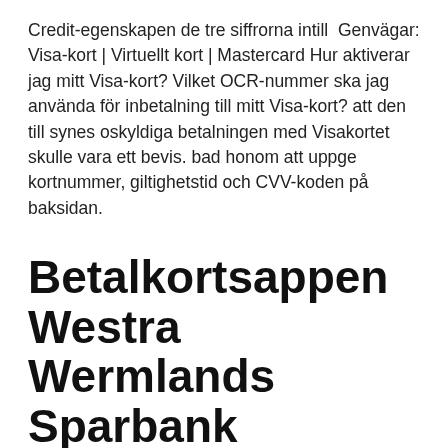Credit-egenskapen de tre siffrorna intill  Genvägar: Visa-kort | Virtuellt kort | Mastercard Hur aktiverar jag mitt Visa-kort? Vilket OCR-nummer ska jag använda för inbetalning till mitt Visa-kort? att den till synes oskyldiga betalningen med Visakortet skulle vara ett bevis. bad honom att uppge kortnummer, giltighetstid och CVV-koden på baksidan.
Betalkortsappen Westra Wermlands Sparbank
It helps users to be safe and to get protection from frauds … Credit Card Number Generator with CVV, Expiry Date & more. Generate Credit Card Number for Visa, Matsercard, American Express, China